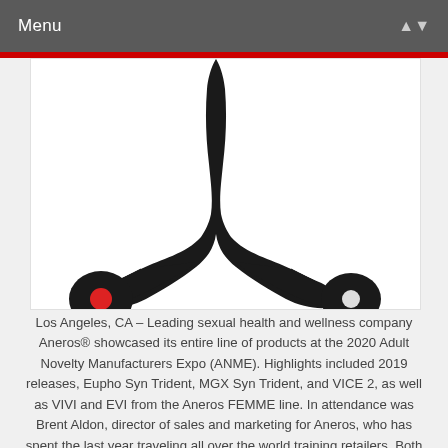Menu
[Figure (photo): Black adult wellness product (Aneros device) with red and white accent dots on curved arms, photographed on white background]
Los Angeles, CA – Leading sexual health and wellness company Aneros® showcased its entire line of products at the 2020 Adult Novelty Manufacturers Expo (ANME). Highlights included 2019 releases, Eupho Syn Trident, MGX Syn Trident, and VICE 2, as well as VIVI and EVI from the Aneros FEMME line. In attendance was Brent Aldon, director of sales and marketing for Aneros, who has spent the last year traveling all over the world training retailers. Both Aldon and Aneros Project Manager Christina Betancourt will be available for attendees who wish to discuss product